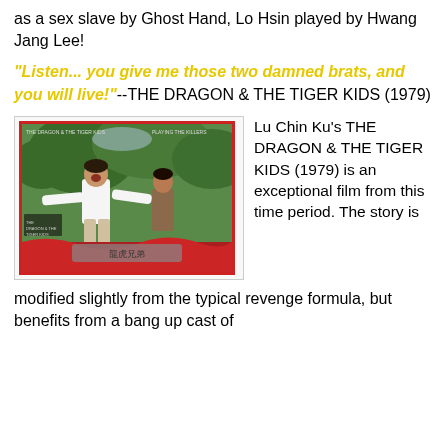as a sex slave by Ghost Hand, Lo Hsin played by Hwang Jang Lee!
"Listen... you give me those two damned brats, and you will live!"--THE DRAGON & THE TIGER KIDS (1979)
[Figure (photo): Movie poster/lobby card for THE DRAGON & THE TIGER KIDS (1979) showing two martial artists in action poses outdoors with green trees in background, red border, Chinese characters at bottom]
Lu Chin Ku's THE DRAGON & THE TIGER KIDS (1979) is an exceptional film from this time period. The story is modified slightly from the typical revenge formula, but benefits from a bang up cast of